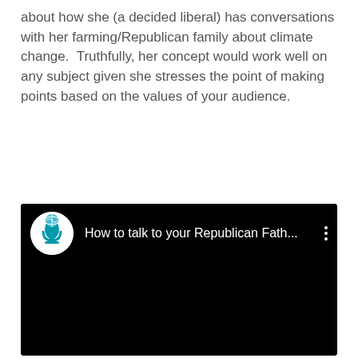about how she (a decided liberal) has conversations with her farming/Republican family about climate change.  Truthfully, her concept would work well on any subject given she stresses the point of making points based on the values of your audience.
[Figure (screenshot): Embedded video screenshot with black background. Top bar shows a circular podcast microphone logo icon on left, title text 'How to talk to your Republican Fath...' in white, and a three-dot menu icon on the right. The rest of the embed is black.]